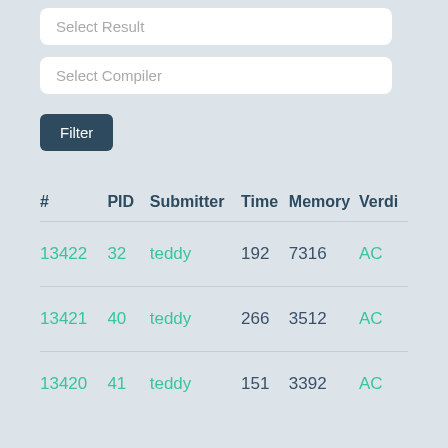Select Result
Select Compiler
Filter
| # | PID | Submitter | Time | Memory | Verdi... |
| --- | --- | --- | --- | --- | --- |
| 13422 | 32 | teddy | 192 | 7316 | AC |
| 13421 | 40 | teddy | 266 | 3512 | AC |
| 13420 | 41 | teddy | 151 | 3392 | AC |